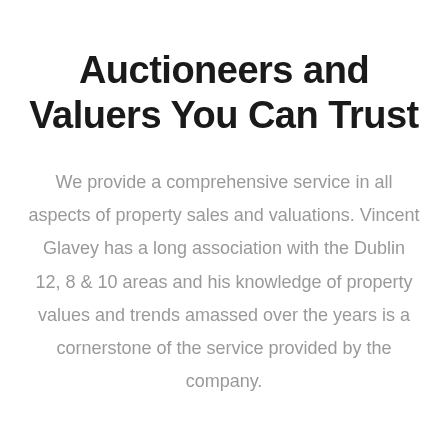Auctioneers and Valuers You Can Trust
We provide a comprehensive service in all aspects of property sales and valuations. Vincent Glavey has a long association with the Dublin 12, 8 & 10 areas and his knowledge of property values and trends amassed over the years is a cornerstone of the service provided by the company.